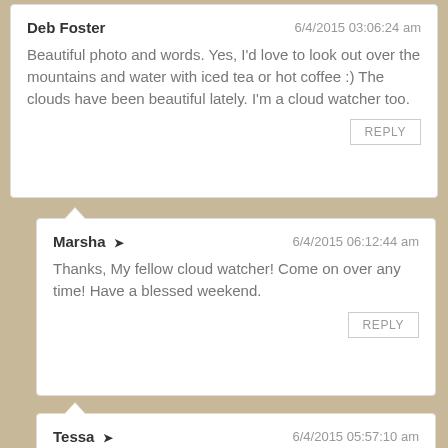Deb Foster — 6/4/2015 03:06:24 am
Beautiful photo and words. Yes, I'd love to look out over the mountains and water with iced tea or hot coffee :) The clouds have been beautiful lately. I'm a cloud watcher too.
Marsha → — 6/4/2015 06:12:44 am
Thanks, My fellow cloud watcher! Come on over any time! Have a blessed weekend.
Tessa → — 6/4/2015 05:57:10 am
It sounds like a wonderful view. I used to live by the lake. It was beautiful out the front window.